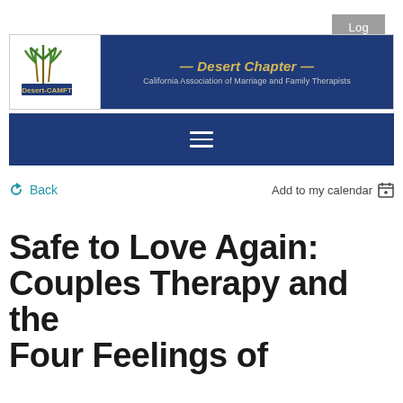Log in
[Figure (logo): Desert-CAMFT logo with palm trees and blue banner. Desert Chapter - California Association of Marriage and Family Therapists]
[Figure (other): Navigation hamburger menu (three horizontal lines) on dark blue background]
Back    Add to my calendar
Safe to Love Again: Couples Therapy and the Four Feelings of